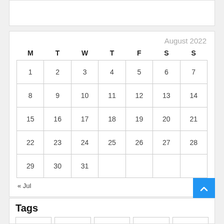| M | T | W | T | F | S | S |
| --- | --- | --- | --- | --- | --- | --- |
| 1 | 2 | 3 | 4 | 5 | 6 | 7 |
| 8 | 9 | 10 | 11 | 12 | 13 | 14 |
| 15 | 16 | 17 | 18 | 19 | 20 | 21 |
| 22 | 23 | 24 | 25 | 26 | 27 | 28 |
| 29 | 30 | 31 |  |  |  |  |
« Jul
Tags